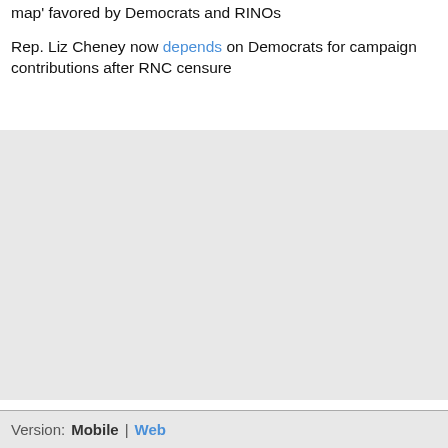map' favored by Democrats and RINOs
Rep. Liz Cheney now depends on Democrats for campaign contributions after RNC censure
Version: Mobile | Web